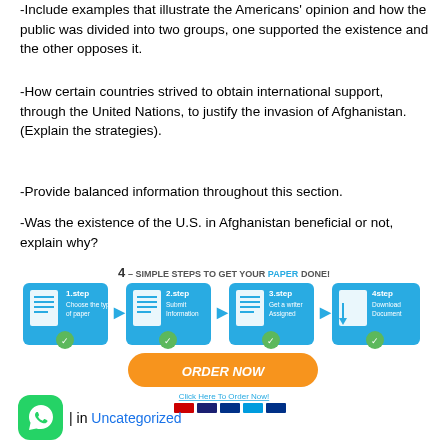-Include examples that illustrate the Americans' opinion and how the public was divided into two groups, one supported the existence and the other opposes it.
-How certain countries strived to obtain international support, through the United Nations, to justify the invasion of Afghanistan. (Explain the strategies).
-Provide balanced information throughout this section.
-Was the existence of the U.S. in Afghanistan beneficial or not, explain why?
[Figure (infographic): 4 simple steps to get your paper done infographic with Order Now button and payment icons]
in Uncategorized